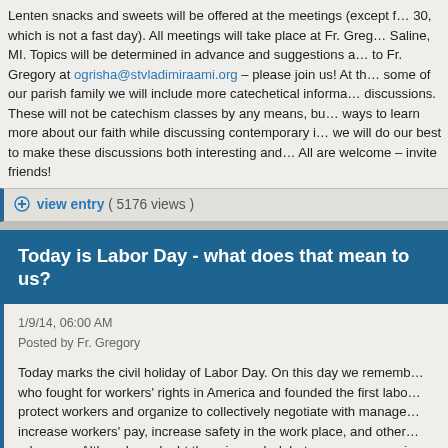Lenten snacks and sweets will be offered at the meetings (except f... 30, which is not a fast day). All meetings will take place at Fr. Grego... Saline, MI. Topics will be determined in advance and suggestions a... to Fr. Gregory at ogrisha@stvladimiraami.org – please join us! At th... some of our parish family we will include more catechetical informa... discussions. These will not be catechism classes by any means, bu... ways to learn more about our faith while discussing contemporary i... we will do our best to make these discussions both interesting and... All are welcome – invite friends!
view entry ( 5176 views )
Today is Labor Day - what does that mean to us?
1/9/14, 06:00 AM
Posted by Fr. Gregory
Today marks the civil holiday of Labor Day. On this day we rememb... who fought for workers' rights in America and founded the first labo... protect workers and organize to collectively negotiate with manage... increase workers' pay, increase safety in the work place, and other... advances. Although no doubt there is much debate among our pari... members about the efficacy of unions in our days this is not the...